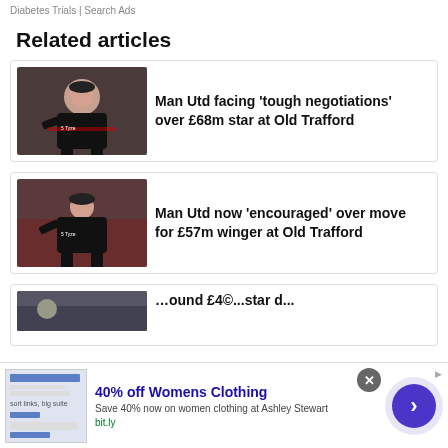Diabetes Trials | Search Ads
Related articles
[Figure (photo): Man Utd manager in black kit with arms outstretched on a football pitch]
Man Utd facing 'tough negotiations' over £68m star at Old Trafford
[Figure (photo): Man Utd manager in black kit with arms outstretched on a football pitch]
Man Utd now 'encouraged' over move for £57m winger at Old Trafford
[Figure (photo): Partial article thumbnail - third article partially visible]
Partial article title partially visible
40% off Womens Clothing
Save 40% now on women clothing at Ashley Stewart
bit.ly